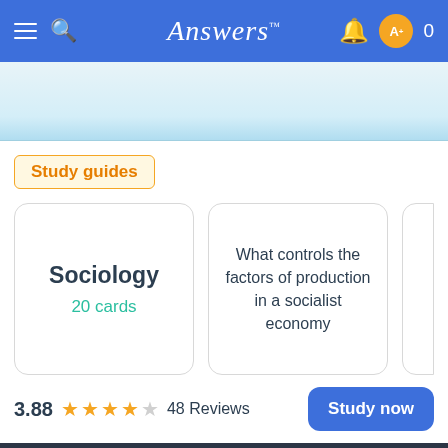Answers™
[Figure (screenshot): Light blue gradient banner/ad area below navigation bar]
Study guides
[Figure (screenshot): Study guide card showing Sociology, 20 cards]
[Figure (screenshot): Study guide card showing: What controls the factors of production in a socialist economy]
3.88 ★★★★☆ 48 Reviews
Study now
FLASHCARDS Create your own study guide from scratch. Create now